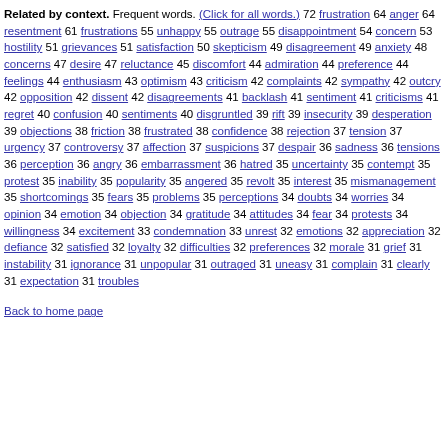Related by context. Frequent words. (Click for all words.) 72 frustration 64 anger 64 resentment 61 frustrations 55 unhappy 55 outrage 55 disappointment 54 concern 53 hostility 51 grievances 51 satisfaction 50 skepticism 49 disagreement 49 anxiety 48 concerns 47 desire 47 reluctance 45 discomfort 44 admiration 44 preference 44 feelings 44 enthusiasm 43 optimism 43 criticism 42 complaints 42 sympathy 42 outcry 42 opposition 42 dissent 42 disagreements 41 backlash 41 sentiment 41 criticisms 41 regret 40 confusion 40 sentiments 40 disgruntled 39 rift 39 insecurity 39 desperation 39 objections 38 friction 38 frustrated 38 confidence 38 rejection 37 tension 37 urgency 37 controversy 37 affection 37 suspicions 37 despair 36 sadness 36 tensions 36 perception 36 angry 36 embarrassment 36 hatred 35 uncertainty 35 contempt 35 protest 35 inability 35 popularity 35 angered 35 revolt 35 interest 35 mismanagement 35 shortcomings 35 fears 35 problems 35 perceptions 34 doubts 34 worries 34 opinion 34 emotion 34 objection 34 gratitude 34 attitudes 34 fear 34 protests 34 willingness 34 excitement 33 condemnation 33 unrest 32 emotions 32 appreciation 32 defiance 32 satisfied 32 loyalty 32 difficulties 32 preferences 32 morale 31 grief 31 instability 31 ignorance 31 unpopular 31 outraged 31 uneasy 31 complain 31 clearly 31 expectation 31 troubles
Back to home page